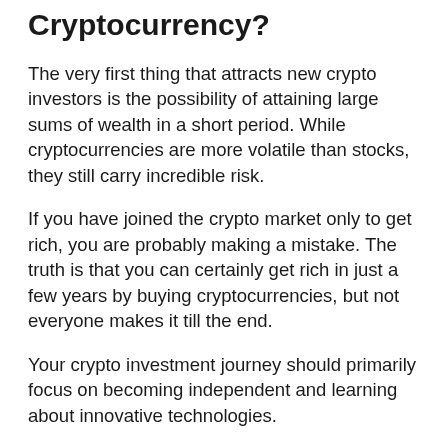Cryptocurrency?
The very first thing that attracts new crypto investors is the possibility of attaining large sums of wealth in a short period. While cryptocurrencies are more volatile than stocks, they still carry incredible risk.
If you have joined the crypto market only to get rich, you are probably making a mistake. The truth is that you can certainly get rich in just a few years by buying cryptocurrencies, but not everyone makes it till the end.
Your crypto investment journey should primarily focus on becoming independent and learning about innovative technologies.
If you really want to get rich, try not to think about it too much and turn cryptocurrencies into a hobby rather than a get rich overnight scheme.